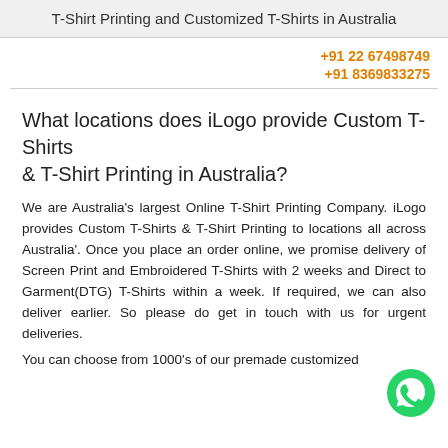T-Shirt Printing and Customized T-Shirts in Australia
+91 22 67498749
+91 8369833275
What locations does iLogo provide Custom T-Shirts & T-Shirt Printing in Australia?
We are Australia's largest Online T-Shirt Printing Company. iLogo provides Custom T-Shirts & T-Shirt Printing to locations all across Australia'. Once you place an order online, we promise delivery of Screen Print and Embroidered T-Shirts with 2 weeks and Direct to Garment(DTG) T-Shirts within a week. If required, we can also deliver earlier. So please do get in touch with us for urgent deliveries.
You can choose from 1000's of our premade customized